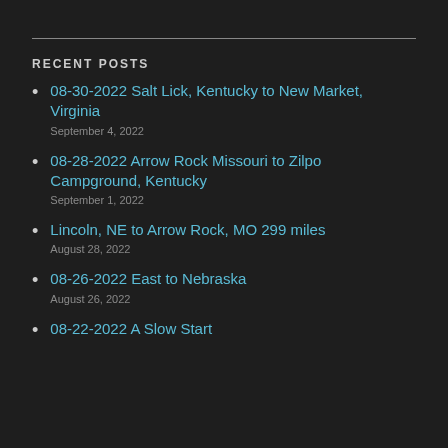RECENT POSTS
08-30-2022 Salt Lick, Kentucky to New Market, Virginia
September 4, 2022
08-28-2022 Arrow Rock Missouri to Zilpo Campground, Kentucky
September 1, 2022
Lincoln, NE to Arrow Rock, MO 299 miles
August 28, 2022
08-26-2022 East to Nebraska
August 26, 2022
08-22-2022 A Slow Start